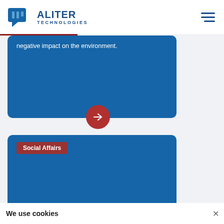Aliter Technologies
negative impact on the environment.
[Figure (illustration): Red circular arrow button pointing right]
Social Affairs
We use cookies